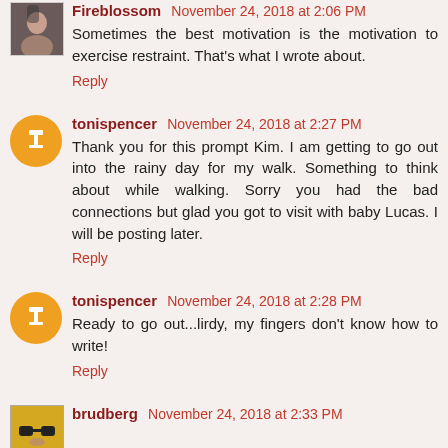Fireblossom November 24, 2018 at 2:06 PM
Sometimes the best motivation is the motivation to exercise restraint. That's what I wrote about.
Reply
tonispencer November 24, 2018 at 2:27 PM
Thank you for this prompt Kim. I am getting to go out into the rainy day for my walk. Something to think about while walking. Sorry you had the bad connections but glad you got to visit with baby Lucas. I will be posting later.
Reply
tonispencer November 24, 2018 at 2:28 PM
Ready to go out...lirdy, my fingers don't know how to write!
Reply
brudberg November 24, 2018 at 2:33 PM